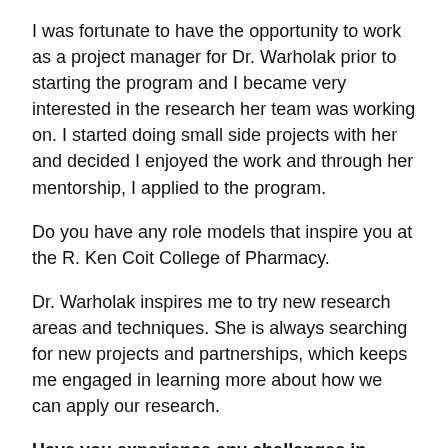I was fortunate to have the opportunity to work as a project manager for Dr. Warholak prior to starting the program and I became very interested in the research her team was working on. I started doing small side projects with her and decided I enjoyed the work and through her mentorship, I applied to the program.
Do you have any role models that inspire you at the R. Ken Coit College of Pharmacy.
Dr. Warholak inspires me to try new research areas and techniques. She is always searching for new projects and partnerships, which keeps me engaged in learning more about how we can apply our research.
Have you experience any challanges in school? How did you overcome them?